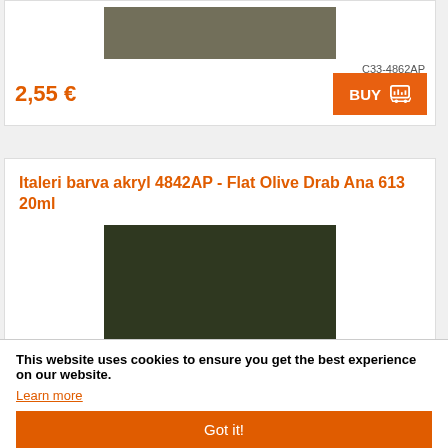[Figure (illustration): Olive gray-green color swatch rectangle for a paint product]
C33-4862AP
2,55 €
BUY
Italeri barva akryl 4842AP - Flat Olive Drab Ana 613 20ml
[Figure (illustration): Dark olive drab green color swatch rectangle for a paint product]
This website uses cookies to ensure you get the best experience on our website.
Learn more
Got it!